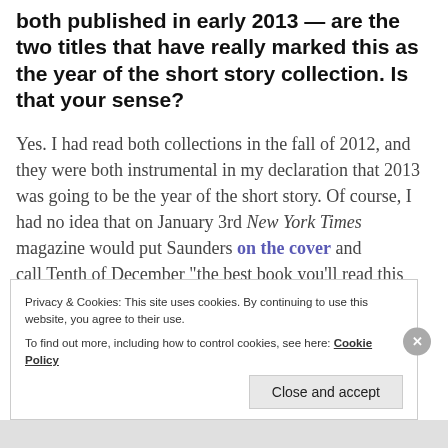both published in early 2013 — are the two titles that have really marked this as the year of the short story collection. Is that your sense?
Yes. I had read both collections in the fall of 2012, and they were both instrumental in my declaration that 2013 was going to be the year of the short story. Of course, I had no idea that on January 3rd New York Times magazine would put Saunders on the cover and call Tenth of December "the best book you'll read this year." I have to say it made me feel good about my
Privacy & Cookies: This site uses cookies. By continuing to use this website, you agree to their use.
To find out more, including how to control cookies, see here: Cookie Policy